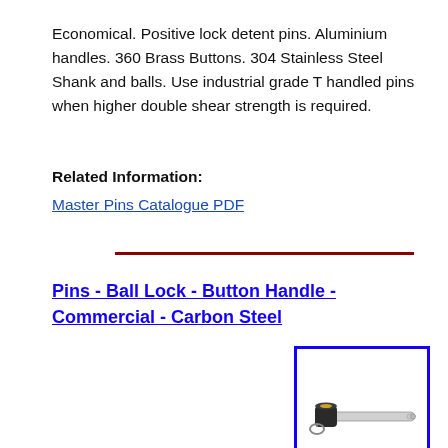Economical. Positive lock detent pins. Aluminium handles. 360 Brass Buttons. 304 Stainless Steel Shank and balls. Use industrial grade T handled pins when higher double shear strength is required.
Related Information:
Master Pins Catalogue PDF
Pins - Ball Lock - Button Handle - Commercial - Carbon Steel
[Figure (photo): Photo of a ball lock button handle pin — a cylindrical metal shank with a black button/collar handle, a small retaining ring at the base of the handle, and a pointed/stepped tip. Blue border around image.]